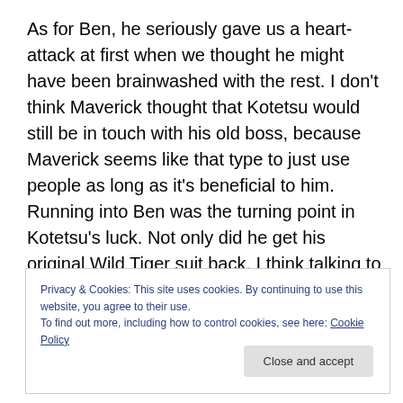As for Ben, he seriously gave us a heart-attack at first when we thought he might have been brainwashed with the rest. I don't think Maverick thought that Kotetsu would still be in touch with his old boss, because Maverick seems like that type to just use people as long as it's beneficial to him. Running into Ben was the turning point in Kotetsu's luck. Not only did he get his original Wild Tiger suit back, I think talking to Ben also helped Kotetsu arrange his thoughts on the whole thing and to come up with a plan. How he intends to achieve making the other
Privacy & Cookies: This site uses cookies. By continuing to use this website, you agree to their use.
To find out more, including how to control cookies, see here: Cookie Policy